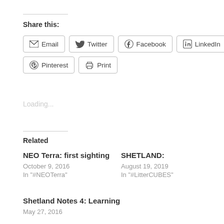Share this:
Email
Twitter
Facebook
LinkedIn
Pinterest
Print
Loading...
Related
NEO Terra: first sighting
October 9, 2016
In "#NEOTerra"
SHETLAND:
August 19, 2019
In "#LitterCUBES"
Shetland Notes 4: Learning
May 27, 2016